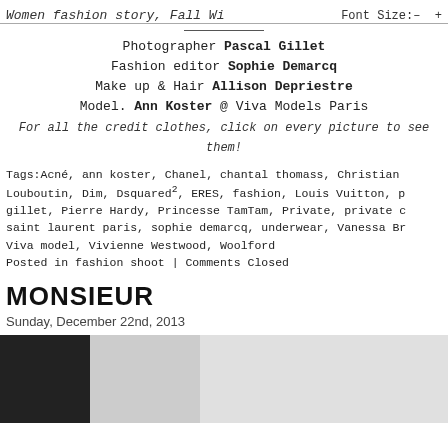Women fashion story, Fall Wi   Font Size: – +
Photographer Pascal Gillet
Fashion editor Sophie Demarcq
Make up & Hair Allison Depriestre
Model. Ann Koster @ Viva Models Paris
For all the credit clothes, click on every picture to see them!
Tags: Acné, ann koster, Chanel, chantal thomass, Christian Louboutin, Dim, Dsquared², ERES, fashion, Louis Vuitton, pascal gillet, Pierre Hardy, Princesse TamTam, Private, private c, saint laurent paris, sophie demarcq, underwear, Vanessa Br, Viva model, Vivienne Westwood, Woolford
Posted in fashion shoot | Comments Closed
MONSIEUR
Sunday, December 22nd, 2013
[Figure (photo): Black and white fashion photograph, partially visible, showing dark and light contrasting panels]